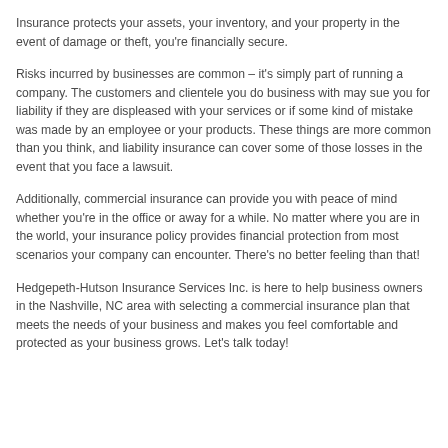Insurance protects your assets, your inventory, and your property in the event of damage or theft, you're financially secure.
Risks incurred by businesses are common – it's simply part of running a company. The customers and clientele you do business with may sue you for liability if they are displeased with your services or if some kind of mistake was made by an employee or your products. These things are more common than you think, and liability insurance can cover some of those losses in the event that you face a lawsuit.
Additionally, commercial insurance can provide you with peace of mind whether you're in the office or away for a while. No matter where you are in the world, your insurance policy provides financial protection from most scenarios your company can encounter. There's no better feeling than that!
Hedgepeth-Hutson Insurance Services Inc. is here to help business owners in the Nashville, NC area with selecting a commercial insurance plan that meets the needs of your business and makes you feel comfortable and protected as your business grows. Let's talk today!